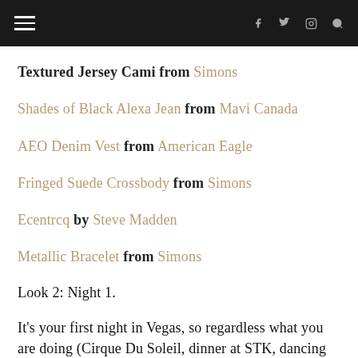≡  f  🐦  📷  🔍
Textured Jersey Cami from Simons
Shades of Black Alexa Jean from Mavi Canada
AEO Denim Vest from American Eagle
Fringed Suede Crossbody from Simons
Ecentrcq by Steve Madden
Metallic Bracelet from Simons
Look 2: Night 1.
It's your first night in Vegas, so regardless what you are doing (Cirque Du Soleil, dinner at STK, dancing at XS or all of the above)